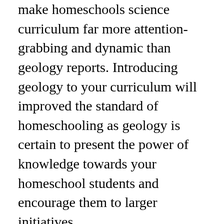make homeschools science curriculum far more attention-grabbing and dynamic than geology reports. Introducing geology to your curriculum will improved the standard of homeschooling as geology is certain to present the power of knowledge towards your homeschool students and encourage them to larger initiatives.
Many solutions which include masonry stones and gasoline, gypsum wallboard (often known from the brand name identify Sheetrock) and jewelry, natural gas, and desk salt are the results of endeavours during the wide subject known as economic geology. It is the research of metals, fuels...